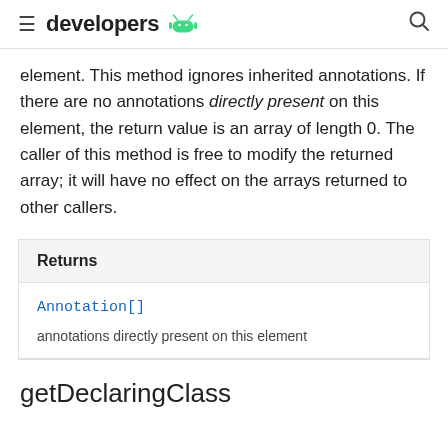≡ developers 🤖 🔍
element. This method ignores inherited annotations. If there are no annotations directly present on this element, the return value is an array of length 0. The caller of this method is free to modify the returned array; it will have no effect on the arrays returned to other callers.
| Returns |
| --- |
| Annotation[] | annotations directly present on this element |
getDeclaringClass